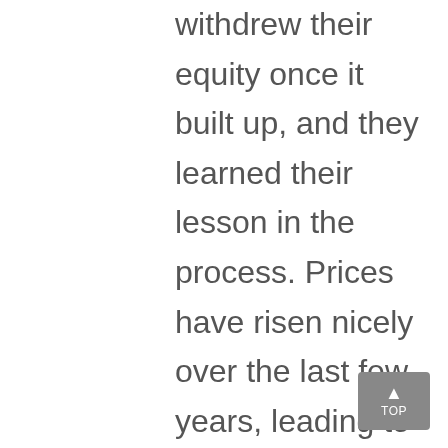withdrew their equity once it built up, and they learned their lesson in the process. Prices have risen nicely over the last few years, leading to over fifty percent of homes in the country having greater than 50% equity. But owners have not been tapping into it like the last time. Here is a table comparing the equity withdrawal over the last three years compared to 2005, 2006, and 2007. Homeowners